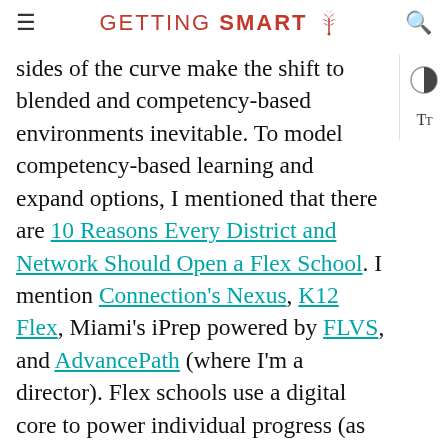GETTING SMART
sides of the curve make the shift to blended and competency-based environments inevitable. To model competency-based learning and expand options, I mentioned that there are 10 Reasons Every District and Network Should Open a Flex School. I mention Connection's Nexus, K12 Flex, Miami's iPrep powered by FLVS, and AdvancePath (where I'm a director). Flex schools use a digital core to power individual progress (as opposed to matriculation by cohort). It's a great strategy for running a very small school, a school serving a special population, or a school leveraging a particularly asset or interest. Times are tough, but new solutions that do more